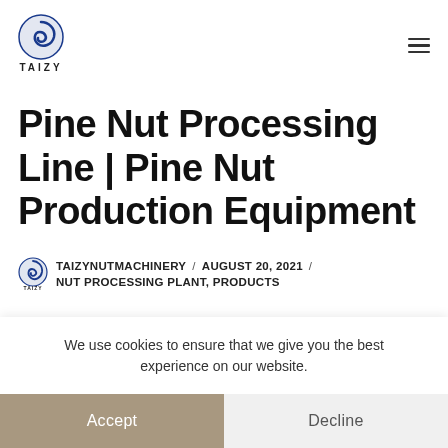TAIZY
Pine Nut Processing Line | Pine Nut Production Equipment
TAIZYNUTMACHINERY / AUGUST 20, 2021 / NUT PROCESSING PLANT, PRODUCTS
We use cookies to ensure that we give you the best experience on our website.
Accept
Decline